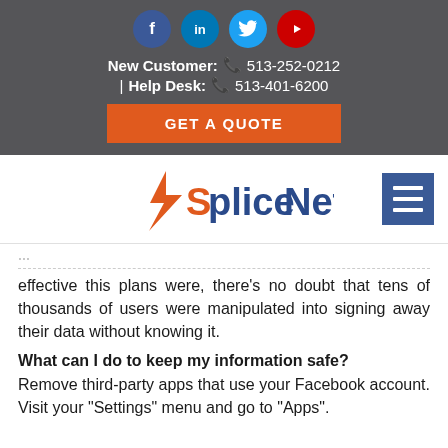Social media icons: Facebook, LinkedIn, Twitter, YouTube
New Customer: 513-252-0212 | Help Desk: 513-401-6200
GET A QUOTE
[Figure (logo): SpliceNet logo with orange lightning bolt and blue/orange text, plus hamburger menu icon]
effective this plans were, there's no doubt that tens of thousands of users were manipulated into signing away their data without knowing it.
What can I do to keep my information safe?
Remove third-party apps that use your Facebook account. Visit your "Settings" menu and go to "Apps".